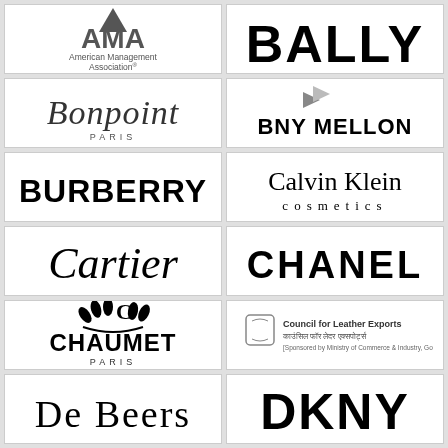[Figure (logo): AMA - American Management Association logo]
[Figure (logo): BALLY logo in bold black serif font]
[Figure (logo): Bonpoint Paris logo in elegant script]
[Figure (logo): BNY Mellon logo with grey arrow icon]
[Figure (logo): BURBERRY logo in bold black sans-serif]
[Figure (logo): Calvin Klein cosmetics logo]
[Figure (logo): Cartier logo in elegant italic script]
[Figure (logo): CHANEL logo in bold black serif]
[Figure (logo): CHAUMET PARIS logo with crown decoration]
[Figure (logo): Council for Leather Exports logo with Hindi text and government sponsorship note]
[Figure (logo): DE BEERS logo in serif font]
[Figure (logo): DKNY logo in bold black sans-serif]